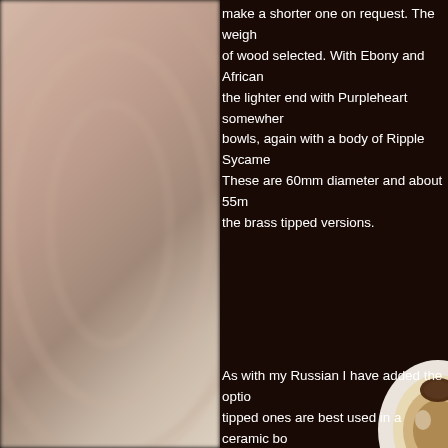[Figure (photo): Left half shows a blurred close-up photo of wood grain in warm beige/tan tones. Right half shows a dark brown/black background with a partial view of a turned wooden bowl or object with brass tip visible at right edge around middle of page.]
make a shorter one on request. The weigh of wood selected. With Ebony and African the lighter end with Purpleheart somewher bowls, again with a body of Ripple Sycame These are 60mm diameter and about 55m the brass tipped versions.
As with my Russian I have added the optio tipped ones are best used in a ceramic bo